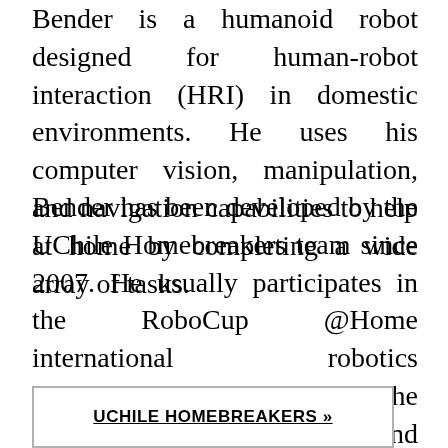Bender is a humanoid robot designed for human-robot interaction (HRI) in domestic environments. He uses his computer vision, manipulation, and navigation capabilities to help at home by completing a wide array of tasks.
Bender has been developed by the UChile Homebreakers team since 2007. He usually participates in the RoboCup @Home international robotics competition. He has reached the 5th place amongst 24 teams, and 1st for his design.
UCHILE HOMEBREAKERS »